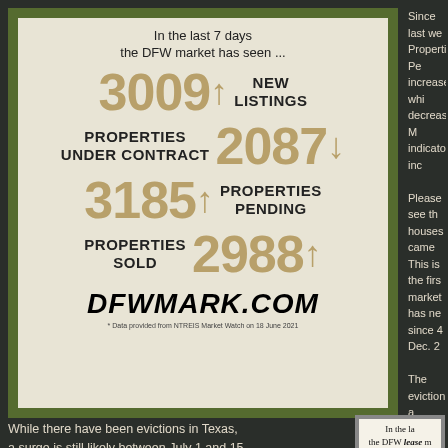[Figure (infographic): DFW market stats infographic showing: 3009↑ New Listings, 2087↓ Properties Under Contract, 3185↑ Properties Pending, 2988↑ Properties Sold. In the last 7 days the DFW market has seen... dfwmark.com. Data from NTREIS Market Watch on 18 June 2021.]
Since last we... Properties Pe... increased whi... decreased. M... indicators inc...
Please see th... houses came... This is the firs... market has ne... since 4 Dec. 2...
The eviction a... end on June 3... the market to... 15, which may... likely a result... buyers waiting... overheated m...
While there have been evictions in Texas, a surge is still likely between July 1 and 15. Hopefully, this will flatten and normalize the lease market while it provides some additional houses on the residential
[Figure (infographic): Partial preview of a second DFW lease market infographic showing 'In the la... the DFW lease m...']